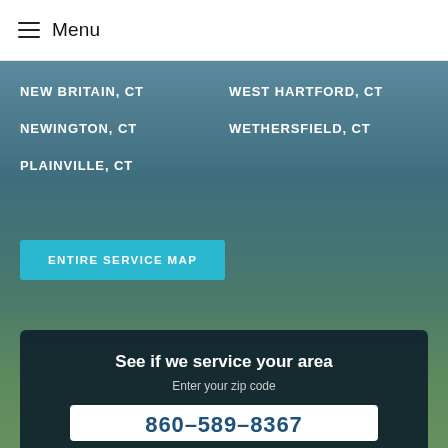Menu
NEW BRITAIN, CT
WEST HARTFORD, CT
NEWINGTON, CT
WETHERSFIELD, CT
PLAINVILLE, CT
ENTIRE SERVICE MAP
See if we service your area
Enter your zip code
860-589-8367